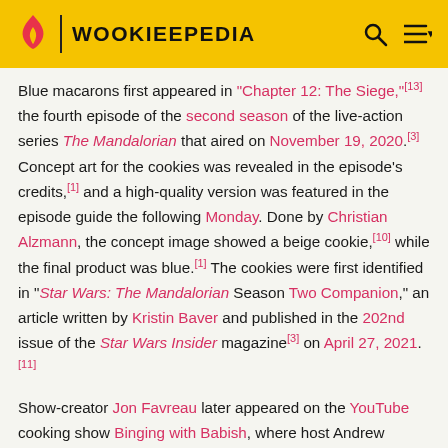WOOKIEEPEDIA
Blue macarons first appeared in "Chapter 12: The Siege,"[13] the fourth episode of the second season of the live-action series The Mandalorian that aired on November 19, 2020.[3] Concept art for the cookies was revealed in the episode's credits,[1] and a high-quality version was featured in the episode guide the following Monday. Done by Christian Alzmann, the concept image showed a beige cookie,[10] while the final product was blue.[1] The cookies were first identified in "Star Wars: The Mandalorian Season Two Companion," an article written by Kristin Baver and published in the 202nd issue of the Star Wars Insider magazine[3] on April 27, 2021.[11]
Show-creator Jon Favreau later appeared on the YouTube cooking show Binging with Babish, where host Andrew